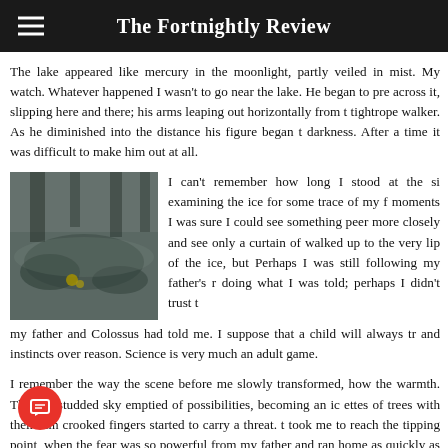The Fortnightly Review
The lake appeared like mercury in the moonlight, partly veiled in mist. My watch. Whatever happened I wasn't to go near the lake. He began to pre across it, slipping here and there; his arms leaping out horizontally from t tightrope walker. As he diminished into the distance his figure began t darkness. After a time it was difficult to make him out at all.
[Figure (photo): A vintage black and white photograph showing a winter or cold scene near water or ice, with dark shadowy figures or objects visible.]
I can't remember how long I stood at the si examining the ice for some trace of my f moments I was sure I could see something peer more closely and see only a curtain of walked up to the very lip of the ice, but Perhaps I was still following my father's r doing what I was told; perhaps I didn't trust t my father and Colossus had told me. I suppose that a child will always tr and instincts over reason. Science is very much an adult game.
I remember the way the scene before me slowly transformed, how the warmth. The star-studded sky emptied of possibilities, becoming an ic ettes of trees with their thin crooked fingers started to carry a threat. t took me to reach the tipping point, when the fear was so powerful from my father and ran home as quickly as I could.